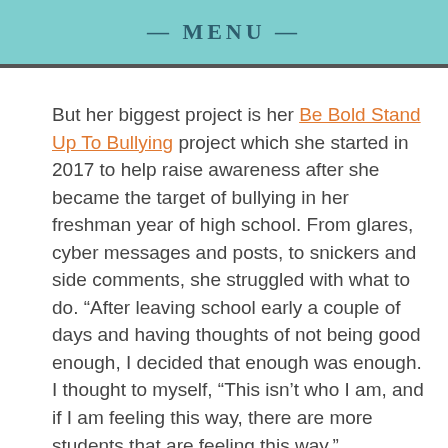— MENU —
But her biggest project is her Be Bold Stand Up To Bullying project which she started in 2017 to help raise awareness after she became the target of bullying in her freshman year of high school. From glares, cyber messages and posts, to snickers and side comments, she struggled with what to do. "After leaving school early a couple of days and having thoughts of not being good enough, I decided that enough was enough. I thought to myself, "This isn't who I am, and if I am feeling this way, there are more students that are feeling this way."